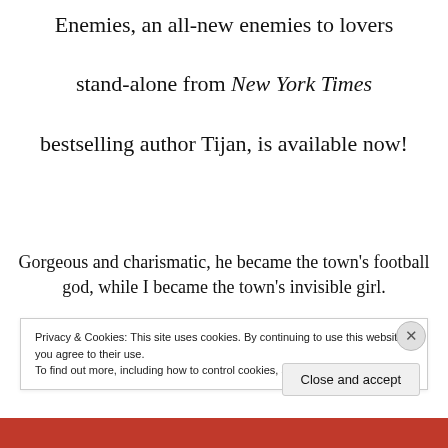Enemies, an all-new enemies to lovers stand-alone from New York Times bestselling author Tijan, is available now!
Gorgeous and charismatic, he became the town’s football god, while I became the town’s invisible girl.
Privacy & Cookies: This site uses cookies. By continuing to use this website, you agree to their use.
To find out more, including how to control cookies, see here: Cookie Policy
Close and accept